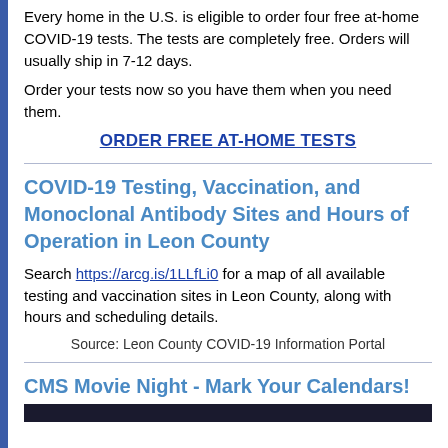Every home in the U.S. is eligible to order four free at-home COVID-19 tests. The tests are completely free. Orders will usually ship in 7-12 days.
Order your tests now so you have them when you need them.
ORDER FREE AT-HOME TESTS
COVID-19 Testing, Vaccination, and Monoclonal Antibody Sites and Hours of Operation in Leon County
Search https://arcg.is/1LLfLi0 for a map of all available testing and vaccination sites in Leon County, along with hours and scheduling details.
Source: Leon County COVID-19 Information Portal
CMS Movie Night - Mark Your Calendars!